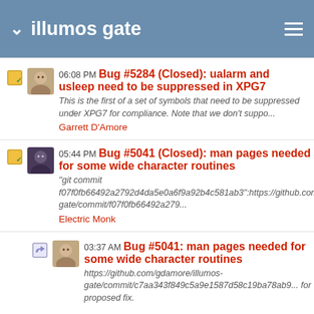illumos gate
06:08 PM Bug #5284 (Closed): ualarm and usleep need to be suppressed in XPG7
This is the first of a set of symbols that need to be suppressed under XPG7 for compliance. Note that we don't suppo...
Garrett D'Amore
05:44 PM Bug #5041 (Closed): man pages needed for some wide character routines
"git commit f07f0fb66492a2792d4da5e0a6f9a92b4c581ab3":https://github.com gate/commit/f07f0fb66492a279...
Electric Monk
03:37 AM Bug #5041: man pages needed for some wide character routines
https://github.com/gdamore/illumos-gate/commit/c7aa343f849c5a9e1587d58c19ba78ab9... for proposed fix.